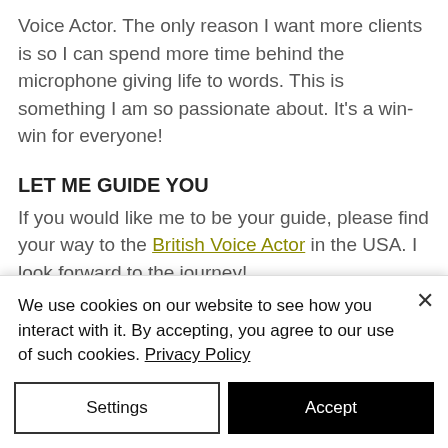Voice Actor. The only reason I want more clients is so I can spend more time behind the microphone giving life to words. This is something I am so passionate about. It's a win-win for everyone!
LET ME GUIDE YOU
If you would like me to be your guide, please find your way to the British Voice Actor in the USA. I look forward to the journey!
//britishvoiceactor //britishvoiceactor…
We use cookies on our website to see how you interact with it. By accepting, you agree to our use of such cookies. Privacy Policy
Settings
Accept